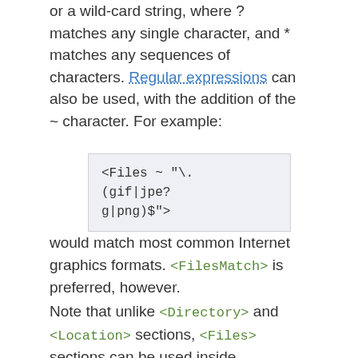or a wild-card string, where ? matches any single character, and * matches any sequences of characters. Regular expressions can also be used, with the addition of the ~ character. For example:
<Files ~ ".\n(gif|jpe?\ng|png)$">
would match most common Internet graphics formats. <FilesMatch> is preferred, however.
Note that unlike <Directory> and <Location> sections, <Files> sections can be used inside .htaccess files. This allows users to